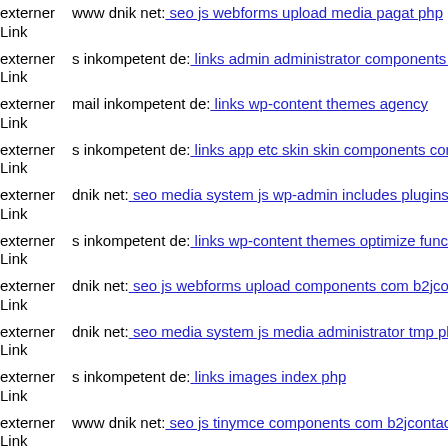externer Link www dnik net: seo js webforms upload media pagat php
externer Link s inkompetent de: links admin administrator components co
externer Link mail inkompetent de: links wp-content themes agency
externer Link s inkompetent de: links app etc skin skin components com b
externer Link dnik net: seo media system js wp-admin includes plugins co
externer Link s inkompetent de: links wp-content themes optimize functio
externer Link dnik net: seo js webforms upload components com b2jconta
externer Link dnik net: seo media system js media administrator tmp plug
externer Link s inkompetent de: links images index php
externer Link www dnik net: seo js tinymce components com b2jcontact j
externer Link s inkompetent de: links phpthumb phpthumb assets snippets
externer www s inkompetent de: links app etc skin jwallpapers files